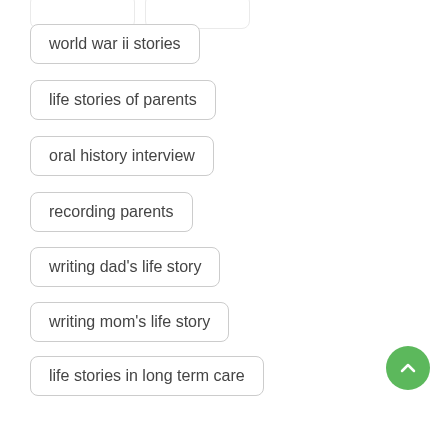world war ii stories
life stories of parents
oral history interview
recording parents
writing dad's life story
writing mom's life story
life stories in long term care
life stories in nursing homes
video recording in senior living
military service in senior living (partial)